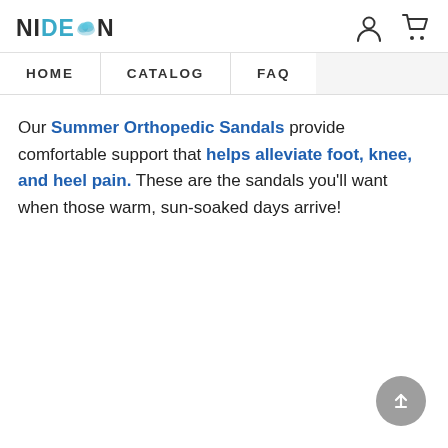NIDEMOON — HOME | CATALOG | FAQ
Our Summer Orthopedic Sandals provide comfortable support that helps alleviate foot, knee, and heel pain. These are the sandals you'll want when those warm, sun-soaked days arrive!